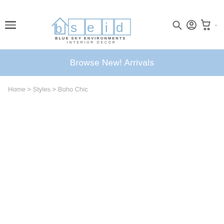[Figure (logo): Blue Sky Environments Interior Decor logo with stylized bseid letters in blue outline boxes]
Browse New! Arrivals
Home > Styles > Boho Chic